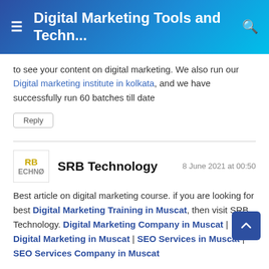Digital Marketing Tools and Techniques
to see your content on digital marketing. We also run our Digital marketing institute in kolkata, and we have successfully run 60 batches till date
Reply
SRB Technology — 8 June 2021 at 00:50
Best article on digital marketing course. if you are looking for best Digital Marketing Training in Muscat, then visit SRB Technology. Digital Marketing Company in Muscat | Digital Marketing in Muscat | SEO Services in Muscat | SEO Services Company in Muscat
Reply